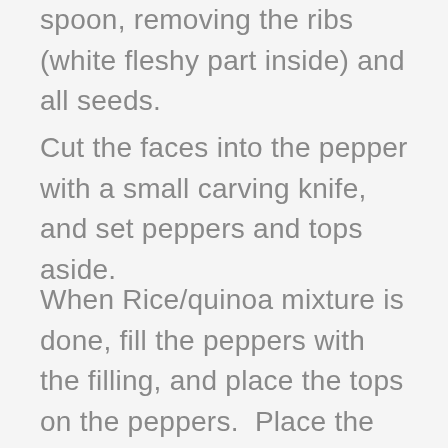spoon, removing the ribs (white fleshy part inside) and all seeds.
Cut the faces into the pepper with a small carving knife, and set peppers and tops aside.
When Rice/quinoa mixture is done, fill the peppers with the filling, and place the tops on the peppers.  Place the trivet in the bottom of the Instant Pot, and add 1/2 cup of water.  Place the filled peppers on the trivet. Place the lid on the Instant Pot until it beeps and locks.  Turn the pressure valve to 'SEALING', and press the